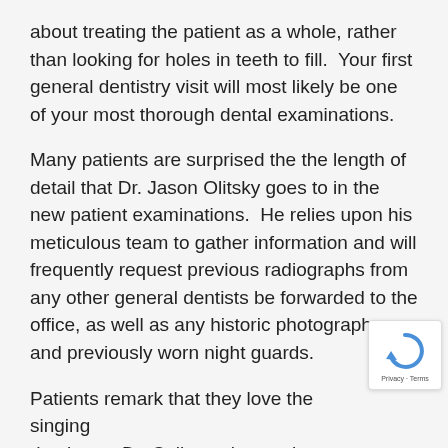about treating the patient as a whole, rather than looking for holes in teeth to fill.  Your first general dentistry visit will most likely be one of your most thorough dental examinations.
Many patients are surprised the the length of detail that Dr. Jason Olitsky goes to in the new patient examinations.  He relies upon his meticulous team to gather information and will frequently request previous radiographs from any other general dentists be forwarded to the office, as well as any historic photographs and previously worn night guards.
Patients remark that they love the singing dentist, as Dr. Colleen sings to her dental patients while preforming their routine general